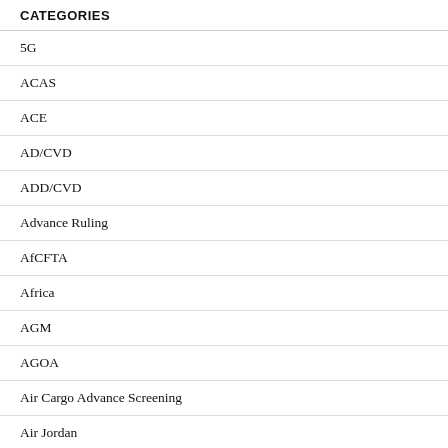| CATEGORIES |
| --- |
| 5G |
| ACAS |
| ACE |
| AD/CVD |
| ADD/CVD |
| Advance Ruling |
| AfCFTA |
| Africa |
| AGM |
| AGOA |
| Air Cargo Advance Screening |
| Air Jordan |
| Airbus |
| aluminum |